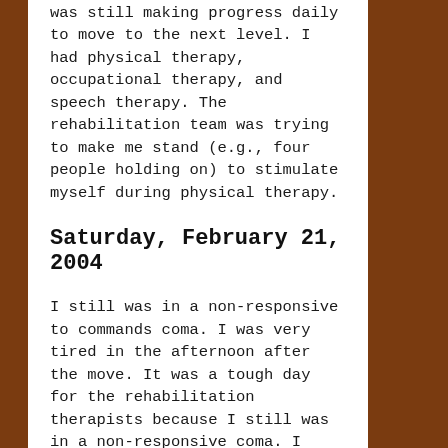was still making progress daily to move to the next level. I had physical therapy, occupational therapy, and speech therapy. The rehabilitation team was trying to make me stand (e.g., four people holding on) to stimulate myself during physical therapy.
Saturday, February 21, 2004
I still was in a non-responsive to commands coma. I was very tired in the afternoon after the move. It was a tough day for the rehabilitation therapists because I still was in a non-responsive coma. I slept through everything. I will hopefully wake up soon and start the long and treacherous road to recovery.